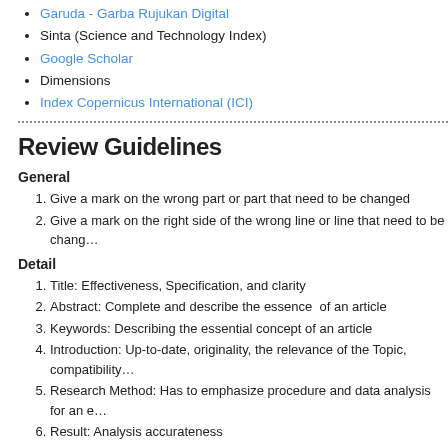Garuda - Garba Rujukan Digital
Sinta (Science and Technology Index)
Google Scholar
Dimensions
Index Copernicus International (ICI)
Review Guidelines
General
Give a mark on the wrong part or part that need to be changed
Give a mark on the right side of the wrong line or line that need to be chang…
Detail
Title: Effectiveness, Specification, and clarity
Abstract: Complete and describe the essence of an article
Keywords: Describing the essential concept of an article
Introduction: Up-to-date, originality, the relevance of the Topic, compatibility…
Research Method: Has to emphasize procedure and data analysis for an e…
Result: Analysis accurateness
Findings: Up-to-date finding, relevance to the interrelated researchers, and…
Conclusion: Logical, valid, brief, and clear
Suggestion: For practical action, development of new theory, and next/adva… viewed, Picture/table title, Referred with a capital letter
Bibliography: References at least 80% from reputable scientific journals. Re… references
Full Review Process of Manuscript
Writing: Is the manuscript easy to follow, that is, has a logical progression a…